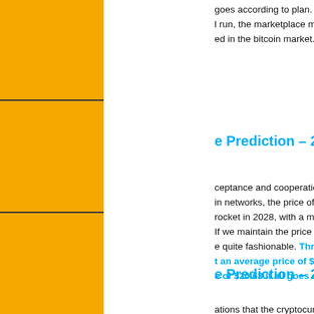goes according to plan. Naturally, after a run, the marketplace may crash, which ed in the bitcoin market.
e Prediction – 2028
ceptance and cooperation with other in networks, the price of BORA is rocket in 2028, with a maximum trading. If we maintain the price ranges the quite fashionable. Throughout 2028, t an average price of $17.64 and a e of $20.63 if all goes according to
e Prediction – 2029
ations that the cryptocurrency sector is